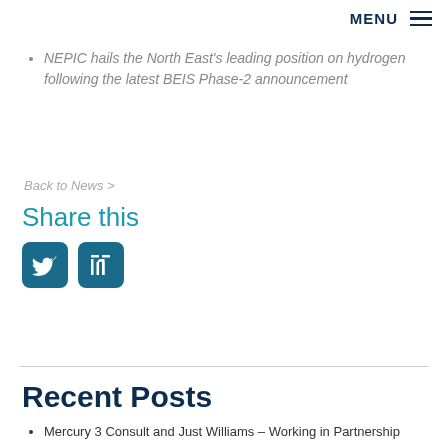MENU ☰
NEPIC hails the North East's leading position on hydrogen following the latest BEIS Phase-2 announcement
Back to News >
Share this
[Figure (other): Twitter and LinkedIn social media share icons]
Recent Posts
Mercury 3 Consult and Just Williams – Working in Partnership
Tank Storage Conference & Exhibition | Thorne & Derrick To Exhibit |